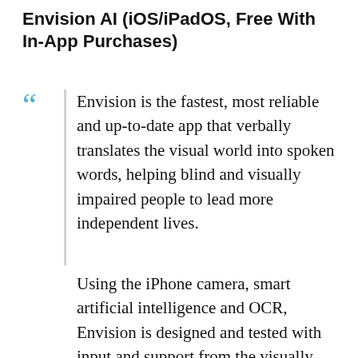Envision AI (iOS/iPadOS, Free With In-App Purchases)
Envision is the fastest, most reliable and up-to-date app that verbally translates the visual world into spoken words, helping blind and visually impaired people to lead more independent lives.
Using the iPhone camera, smart artificial intelligence and OCR, Envision is designed and tested with input and support from the visually